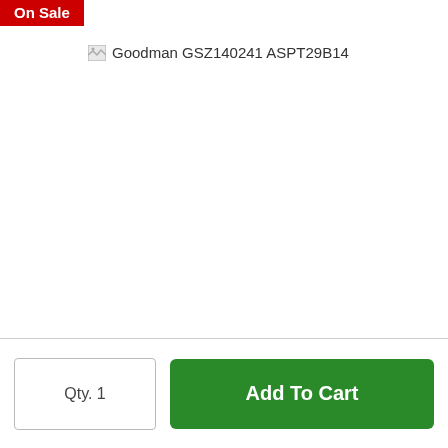[Figure (screenshot): On Sale badge in red at top left corner of product page]
[Figure (photo): Broken image placeholder with alt text 'Goodman GSZ140241 ASPT29B14']
Qty. 1
Add To Cart